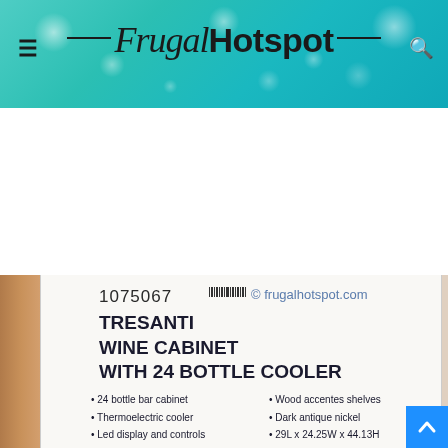Frugal Hotspot
[Figure (photo): Costco product label for Tresanti Wine Cabinet with 24 Bottle Cooler, item number 1075067, showing product features and watermark frugalhotspot.com]
1075067
TRESANTI
WINE CABINET
WITH 24 BOTTLE COOLER
• 24 bottle bar cabinet
• Thermoelectric cooler
• Led display and controls
• Wood accentes shelves
• Dark antique nickel
• 29L x 24.25W x 44.13H